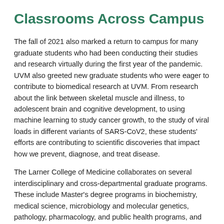Classrooms Across Campus
The fall of 2021 also marked a return to campus for many graduate students who had been conducting their studies and research virtually during the first year of the pandemic. UVM also greeted new graduate students who were eager to contribute to biomedical research at UVM. From research about the link between skeletal muscle and illness, to adolescent brain and cognitive development, to using machine learning to study cancer growth, to the study of viral loads in different variants of SARS-CoV2, these students' efforts are contributing to scientific discoveries that impact how we prevent, diagnose, and treat disease.
The Larner College of Medicine collaborates on several interdisciplinary and cross-departmental graduate programs. These include Master's degree programs in biochemistry, medical science, microbiology and molecular genetics, pathology, pharmacology, and public health programs, and the bioengineering, neuroscience, clinical and translational science, and cellular, molecular, and biomedical sciences Ph.D. programs delivered in partnership the UVM Graduate College. Professional